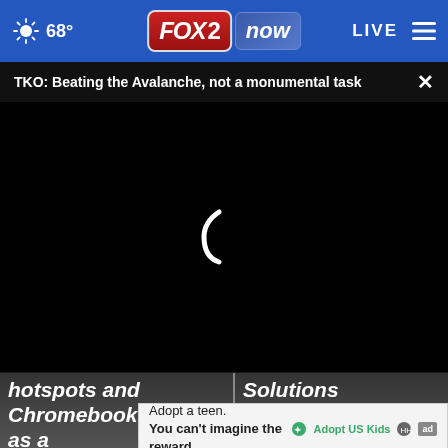68° FOX 2 now LIVE
TKO: Beating the Avalanche, not a monumental task
[Figure (screenshot): Video player showing black loading screen with spinning indicator and video controls bar showing 00:00 timecode]
hotspots and Chromebooks as a the
Solutions opens nev
Adopt a teen. You can't imagine the reward. Adopt US Kids ad